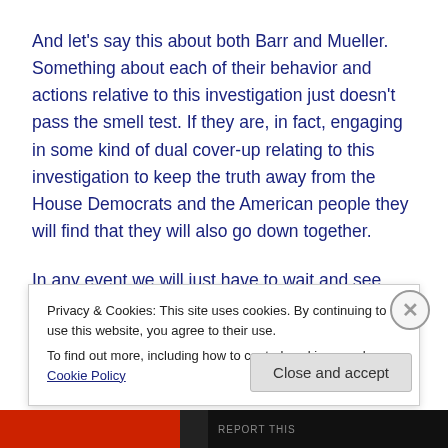And let's say this about both Barr and Mueller. Something about each of their behavior and actions relative to this investigation just doesn't pass the smell test. If they are, in fact, engaging in some kind of dual cover-up relating to this investigation to keep the truth away from the House Democrats and the American people they will find that they will also go down together.
In any event we will just have to wait and see what really happens. And I sincerely hope that in my speculation about this matter I am entirely wrong about Robert
Privacy & Cookies: This site uses cookies. By continuing to use this website, you agree to their use.
To find out more, including how to control cookies, see here: Cookie Policy